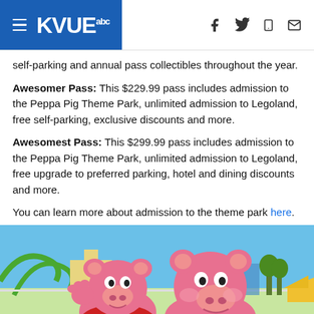KVUE abc
self-parking and annual pass collectibles throughout the year.
Awesomer Pass: This $229.99 pass includes admission to the Peppa Pig Theme Park, unlimited admission to Legoland, free self-parking, exclusive discounts and more.
Awesomest Pass: This $299.99 pass includes admission to the Peppa Pig Theme Park, unlimited admission to Legoland, free upgrade to preferred parking, hotel and dining discounts and more.
You can learn more about admission to the theme park here.
[Figure (photo): Two Peppa Pig character mascots (Peppa and George) standing outdoors at the Peppa Pig Theme Park with colorful park structures visible in the background under a blue sky.]